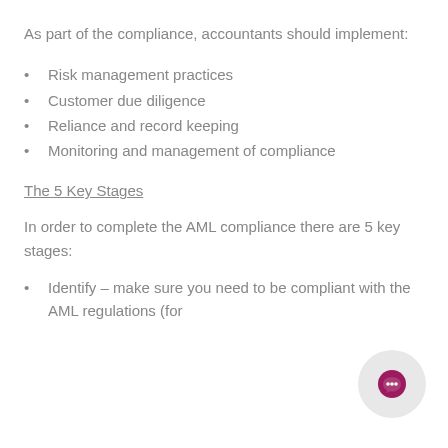As part of the compliance, accountants should implement:
Risk management practices
Customer due diligence
Reliance and record keeping
Monitoring and management of compliance
The 5 Key Stages
In order to complete the AML compliance there are 5 key stages:
Identify – make sure you need to be compliant with the AML regulations (for